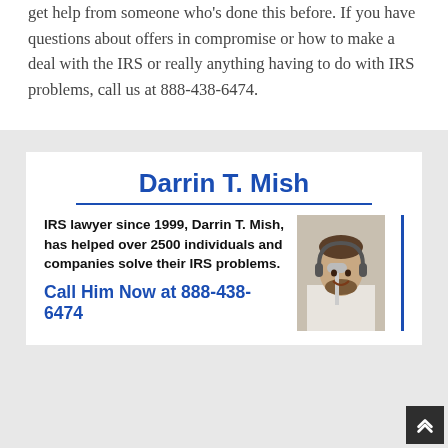get help from someone who's done this before. If you have questions about offers in compromise or how to make a deal with the IRS or really anything having to do with IRS problems, call us at 888-438-6474.
[Figure (infographic): Advertisement card for Darrin T. Mish, IRS lawyer. Shows name in large blue bold text, underline, body text about helping over 2500 individuals and companies since 1999, a photo of a man at a microphone, vertical blue border, and call to action 'Call Him Now at 888-438-6474' in blue bold text.]